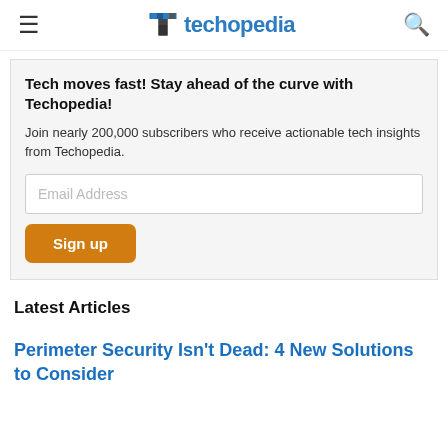≡  techopedia  🔍
Tech moves fast! Stay ahead of the curve with Techopedia!
Join nearly 200,000 subscribers who receive actionable tech insights from Techopedia.
Email Address
Sign up
Latest Articles
Perimeter Security Isn't Dead: 4 New Solutions to Consider